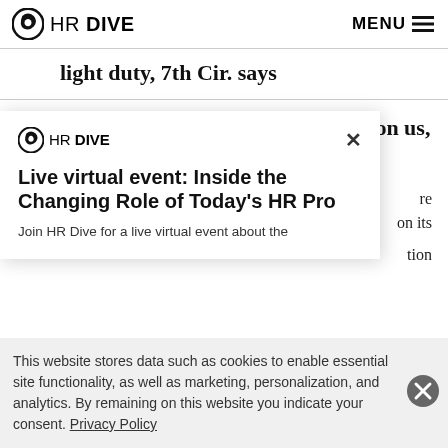HR DIVE | MENU
light duty, 7th Cir. says
2. The ‘Great Reconsideration’ is upon us, KPMG says
[Figure (screenshot): HR Dive modal popup with title 'Live virtual event: Inside the Changing Role of Today’s HR Pro' and body text 'Join HR Dive for a live virtual event about the']
This website stores data such as cookies to enable essential site functionality, as well as marketing, personalization, and analytics. By remaining on this website you indicate your consent. Privacy Policy